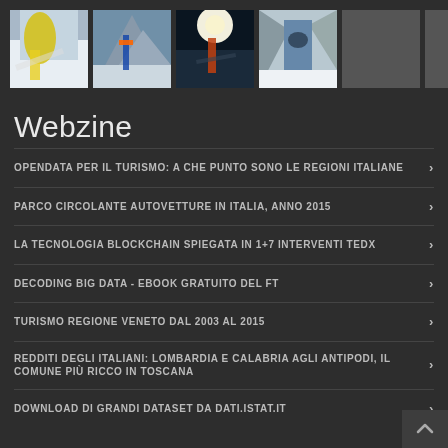[Figure (photo): Strip of 6 thumbnail images including skiing scenes; last two are grey placeholders]
Webzine
OPENDATA PER IL TURISMO: A CHE PUNTO SONO LE REGIONI ITALIANE
PARCO CIRCOLANTE AUTOVETTURE IN ITALIA, ANNO 2015
LA TECNOLOGIA BLOCKCHAIN SPIEGATA IN 1+7 INTERVENTI TEDX
DECODING BIG DATA - EBOOK GRATUITO DEL FT
TURISMO REGIONE VENETO DAL 2003 AL 2015
REDDITI DEGLI ITALIANI: LOMBARDIA E CALABRIA AGLI ANTIPODI, IL COMUNE PIÙ RICCO IN TOSCANA
DOWNLOAD DI GRANDI DATASET DA DATI.ISTAT.IT